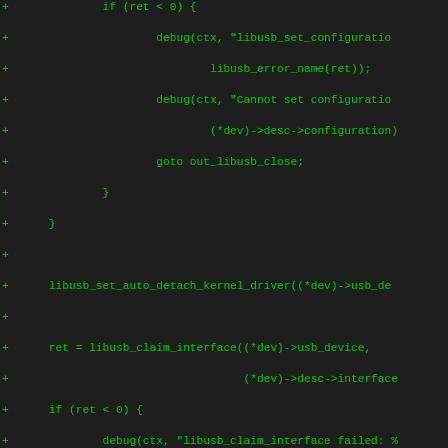[Figure (screenshot): Diff/patch view of C source code showing added lines (marked with '+') implementing USB device configuration and interface claiming logic using libusb API. Green monospace text on dark background.]